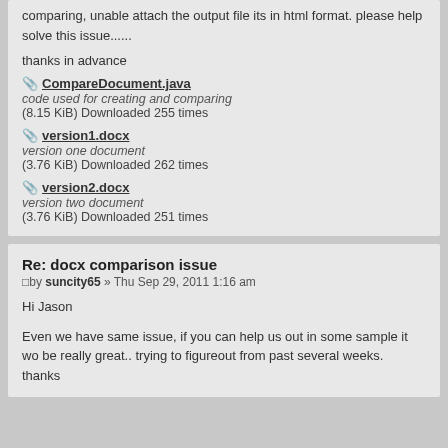comparing, unable attach the output file its in html format. please help solve this issue......
thanks in advance
CompareDocument.java — code used for creating and comparing (8.15 KiB) Downloaded 255 times
version1.docx — version one document (3.76 KiB) Downloaded 262 times
version2.docx — version two document (3.76 KiB) Downloaded 251 times
Re: docx comparison issue
by suncity65 » Thu Sep 29, 2011 1:16 am
Hi Jason
Even we have same issue, if you can help us out in some sample it wo be really great.. trying to figureout from past several weeks. thanks